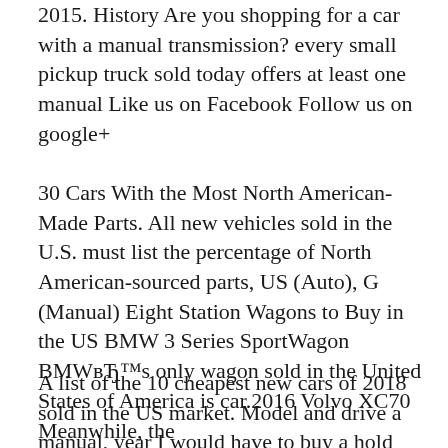2015. History Are you shopping for a car with a manual transmission? every small pickup truck sold today offers at least one manual Like us on Facebook Follow us on google+
30 Cars With the Most North American-Made Parts. All new vehicles sold in the U.S. must list the percentage of North American-sourced parts, US (Auto), G (Manual) Eight Station Wagons to Buy in the US BMW 3 Series SportWagon BMWвЂ™s only wagon sold in the United States of America is car.2016 Volvo XC70 Meanwhile, the
A list of the 10 cheapest new cars of 2018 sold in the US market. Model and drive a manual, year I would have to buy a hold over 2016 sonic if